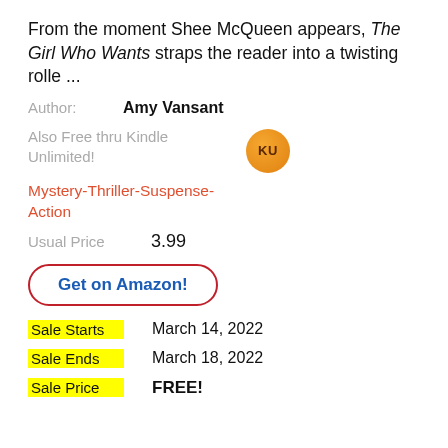From the moment Shee McQueen appears, The Girl Who Wants straps the reader into a twisting rolle ...
Author: Amy Vansant
Also Free thru Kindle Unlimited!
Mystery-Thriller-Suspense-Action
Usual Price  3.99
Get on Amazon!
Sale Starts  March 14, 2022
Sale Ends  March 18, 2022
Sale Price  FREE!